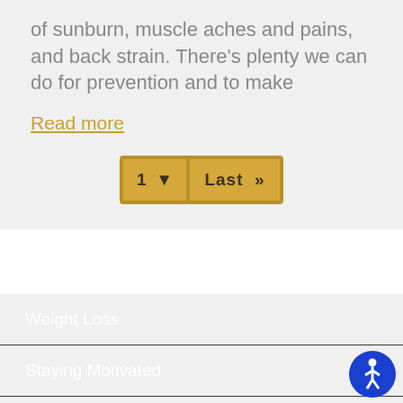of sunburn, muscle aches and pains, and back strain. There's plenty we can do for prevention and to make
Read more
[Figure (other): Pagination control showing page 1 with dropdown and Last >> button]
Weight Loss
Staying Motivated
Staying Young
Life-Work Balance